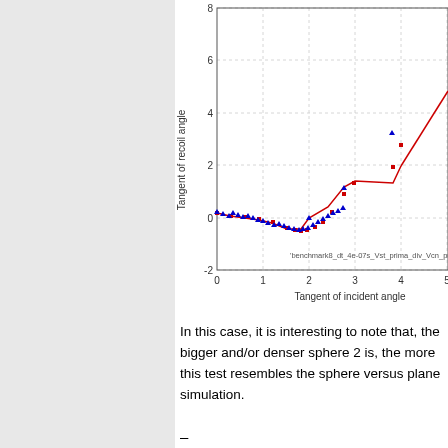[Figure (continuous-plot): Scatter/line plot: Tangent of recoil angle (y-axis, -2 to 8) vs Tangent of incident angle (x-axis, 0 to 5). Two data series: blue triangles and red squares/line. Both series start near 0, dip slightly negative around x=1.5 (red dips to about -0.4), then rise sharply together from x=2 onward, reaching ~3.3 at x=4 and continuing off-chart. Legend label: 'benchmark8_dt_4e-07s_Vst_prima_div_Vcn_prima...']
In this case, it is interesting to note that, the bigger and/or denser sphere 2 is, the more this test resembles the sphere versus plane simulation.
–